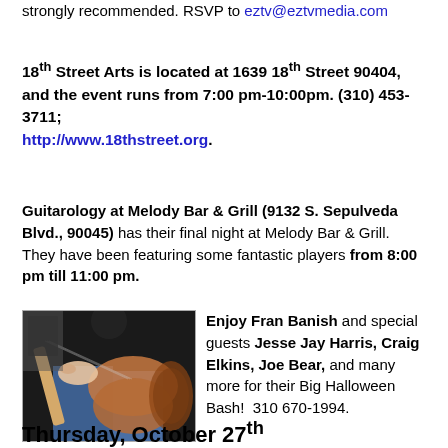strongly recommended. RSVP to eztv@eztvmedia.com
18th Street Arts is located at 1639 18th Street 90404, and the event runs from 7:00 pm-10:00pm. (310) 453-3711; http://www.18thstreet.org.
Guitarology at Melody Bar & Grill (9132 S. Sepulveda Blvd., 90045) has their final night at Melody Bar & Grill. They have been featuring some fantastic players from 8:00 pm till 11:00 pm.
[Figure (photo): Photo of someone playing an electric guitar on stage]
Enjoy Fran Banish and special guests Jesse Jay Harris, Craig Elkins, Joe Bear, and many more for their Big Halloween Bash!  310 670-1994.
Thursday, October 27th